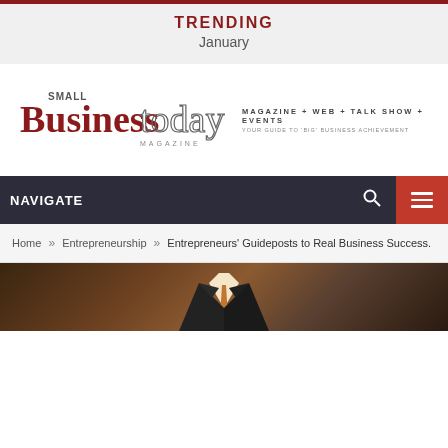TRENDING
January
[Figure (logo): Small Business Today Magazine logo with tagline: MAGAZINE + WEB + TALK SHOW + EVENTS, YOUR GUIDE TO 'BIG' BUSINESS ACHIEVEMENT]
NAVIGATE
Home » Entrepreneurship » Entrepreneurs' Guideposts to Real Business Success.
[Figure (photo): Photo of a person in a business suit, cropped at chest/face area, dark warm tones]